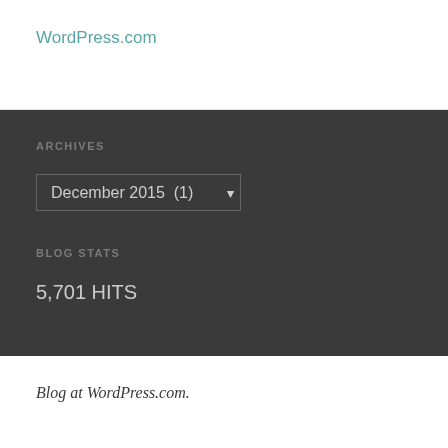WordPress.com
ARCHIVES
December 2015  (1)
BLOG STATS
5,701 HITS
Blog at WordPress.com.